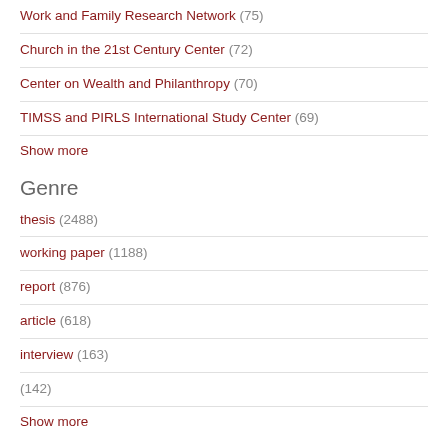Work and Family Research Network (75)
Church in the 21st Century Center (72)
Center on Wealth and Philanthropy (70)
TIMSS and PIRLS International Study Center (69)
Show more
Genre
thesis (2488)
working paper (1188)
report (876)
article (618)
interview (163)
(142)
Show more
Degree Name
PhD (1878)
MS (172)